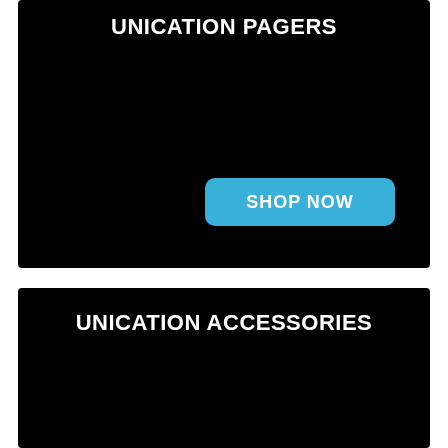UNICATION PAGERS
[Figure (screenshot): Black banner with SHOP NOW button in blue]
UNICATION ACCESSORIES